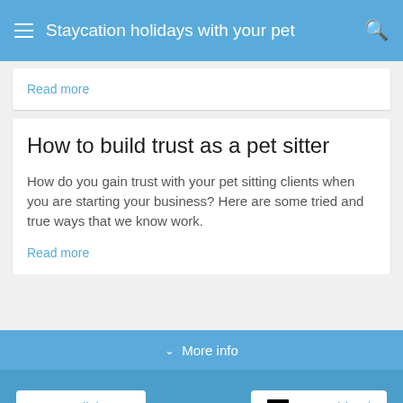Staycation holidays with your pet
Read more
How to build trust as a pet sitter
How do you gain trust with your pet sitting clients when you are starting your business? Here are some tried and true ways that we know work.
Read more
More info
English
Deutschland